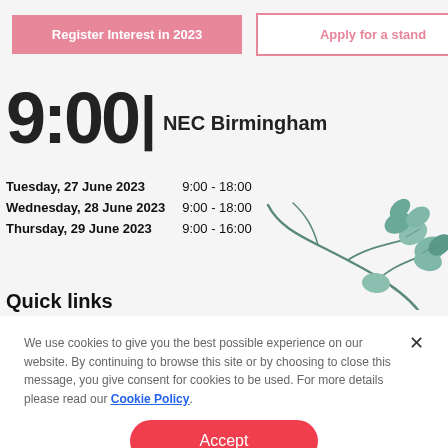[Figure (screenshot): Two buttons: 'Register Interest in 2023' (pink filled) and 'Apply for a stand' (pink outlined)]
9:00 | NEC Birmingham
| Day | Time |
| --- | --- |
| Tuesday, 27 June 2023 | 9:00 - 18:00 |
| Wednesday, 28 June 2023 | 9:00 - 18:00 |
| Thursday, 29 June 2023 | 9:00 - 16:00 |
[Figure (illustration): Decorative eucalyptus leaf branch illustration in teal/green tones]
Quick links
We use cookies to give you the best possible experience on our website. By continuing to browse this site or by choosing to close this message, you give consent for cookies to be used. For more details please read our Cookie Policy.
Accept